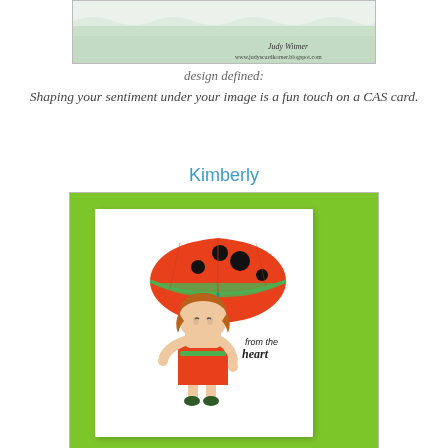[Figure (photo): Top portion of a handmade craft card showing a snowy/green background with handwritten text 'Judy Witmer' and 'www.judyscardkorner.blogspot.com']
design defined:
Shaping your sentiment under your image is a fun touch on a CAS card.
Kimberly
[Figure (photo): Handmade greeting card featuring a girl holding a large red umbrella with black polka dots, wearing a red dress, with text 'from the heart' on the card. Card is displayed on a bright green background.]